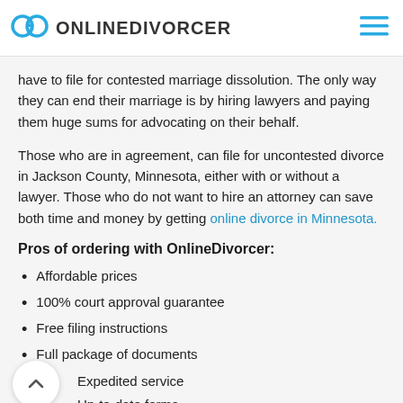ONLINEDIVORCER
have to file for contested marriage dissolution. The only way they can end their marriage is by hiring lawyers and paying them huge sums for advocating on their behalf.
Those who are in agreement, can file for uncontested divorce in Jackson County, Minnesota, either with or without a lawyer. Those who do not want to hire an attorney can save both time and money by getting online divorce in Minnesota.
Pros of ordering with OnlineDivorcer:
Affordable prices
100% court approval guarantee
Free filing instructions
Full package of documents
Expedited service
Up-to-date forms
Flat fee regardless of the number of children